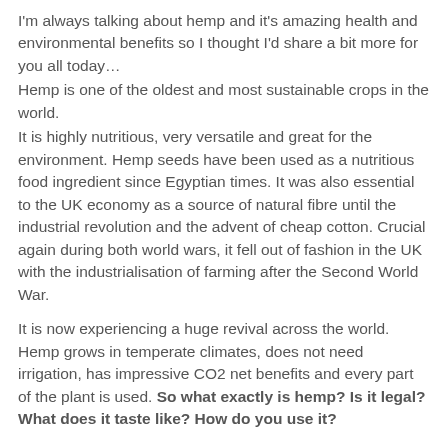I'm always talking about hemp and it's amazing health and environmental benefits so I thought I'd share a bit more for you all today…
Hemp is one of the oldest and most sustainable crops in the world.
It is highly nutritious, very versatile and great for the environment. Hemp seeds have been used as a nutritious food ingredient since Egyptian times. It was also essential to the UK economy as a source of natural fibre until the industrial revolution and the advent of cheap cotton. Crucial again during both world wars, it fell out of fashion in the UK with the industrialisation of farming after the Second World War.
It is now experiencing a huge revival across the world. Hemp grows in temperate climates, does not need irrigation, has impressive CO2 net benefits and every part of the plant is used. So what exactly is hemp? Is it legal? What does it taste like? How do you use it?